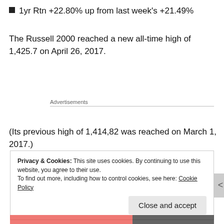1yr Rtn +22.80% up from last week's +21.49%
The Russell 2000 reached a new all-time high of 1,425.7 on April 26, 2017.
Advertisements
(Its previous high of 1,414,82 was reached on March 1, 2017.)
Privacy & Cookies: This site uses cookies. By continuing to use this website, you agree to their use. To find out more, including how to control cookies, see here: Cookie Policy